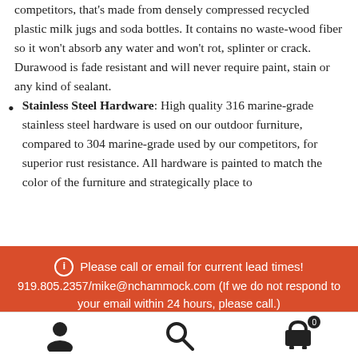competitors, that's made from densely compressed recycled plastic milk jugs and soda bottles. It contains no waste-wood fiber so it won't absorb any water and won't rot, splinter or crack. Durawood is fade resistant and will never require paint, stain or any kind of sealant.
Stainless Steel Hardware: High quality 316 marine-grade stainless steel hardware is used on our outdoor furniture, compared to 304 marine-grade used by our competitors, for superior rust resistance. All hardware is painted to match the color of the furniture and strategically place to
Please call or email for current lead times! 919.805.2357/mike@nchammock.com (If we do not respond to your email within 24 hours, please call.)